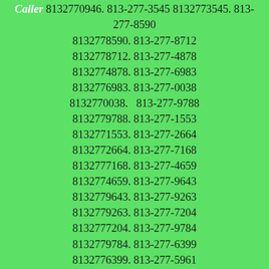8132776281. 813-277-4073 8132774073. 813-277-6032 8132776032. 813-277-9206 8132779206. 813-277-0946 Caller Name Identify My Caller 8132770946. 813-277-3545 8132773545. 813-277-8590 8132778590. 813-277-8712 8132778712. 813-277-4878 8132774878. 813-277-6983 8132776983. 813-277-0038 8132770038.  813-277-9788 8132779788. 813-277-1553 8132771553. 813-277-2664 8132772664. 813-277-7168 8132777168. 813-277-4659 8132774659. 813-277-9643 8132779643. 813-277-9263 8132779263. 813-277-7204 8132777204. 813-277-9784 8132779784. 813-277-6399 8132776399. 813-277-5961 8132775961. 813-277-4825 8132774825. 813-277-3451 8132773451. 813-277-5063 8132775063. 813-277-2130